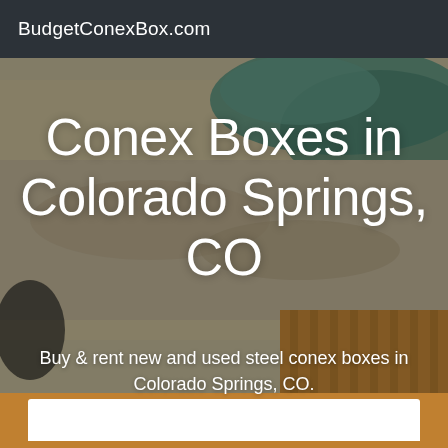BudgetConexBox.com
Conex Boxes in Colorado Springs, CO
Buy & rent new and used steel conex boxes in Colorado Springs, CO.
[Figure (photo): Background photo of a construction or storage site with sandy ground, a teal/green tarp, and wooden container walls]